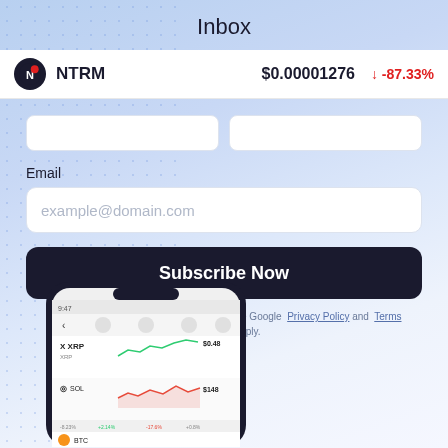Inbox
NTRM   $0.00001276  ↓ -87.33%
Email
example@domain.com
Subscribe Now
This site is protected by reCAPTCHA and the Google Privacy Policy and Terms of Service apply.
[Figure (photo): Smartphone showing a crypto trading app with XRP and other coin price charts in green and red]